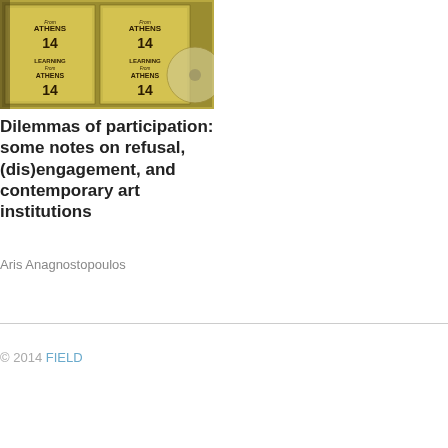[Figure (photo): Photograph of stacked record sleeves or book covers reading 'Learning From Athens 14' repeated multiple times, with a yellow-green tint and a partial circular object visible at right]
Dilemmas of participation: some notes on refusal, (dis)engagement, and contemporary art institutions
Aris Anagnostopoulos
© 2014 FIELD